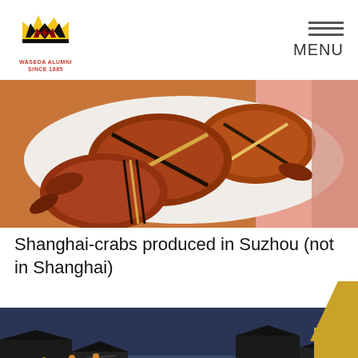WASEDA ALUMNI SINCE 1885 | MENU
[Figure (photo): Plate of Shanghai hairy crabs tied with rope, red-orange colored, on a white plate with pink background]
Shanghai-crabs produced in Suzhou (not in Shanghai)
[Figure (photo): Night view of a canal town in Suzhou with traditional buildings and lanterns lining the waterway]